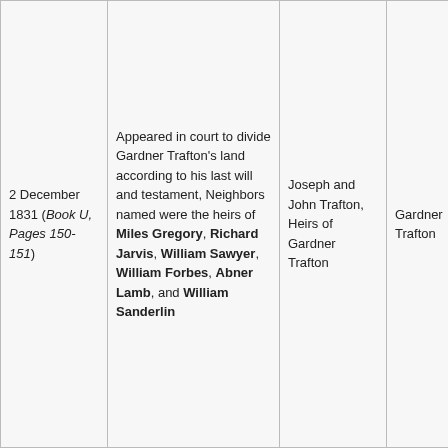| 2 December 1831 (Book U, Pages 150-151) | Appeared in court to divide Gardner Trafton's land according to his last will and testament, Neighbors named were the heirs of Miles Gregory, Richard Jarvis, William Sawyer, William Forbes, Abner Lamb, and William Sanderlin | Joseph and John Trafton, Heirs of Gardner Trafton | Gardner Trafton | Chain Bearer were J Trafton Jonathan Hearring Survey by Dav Pritcha |